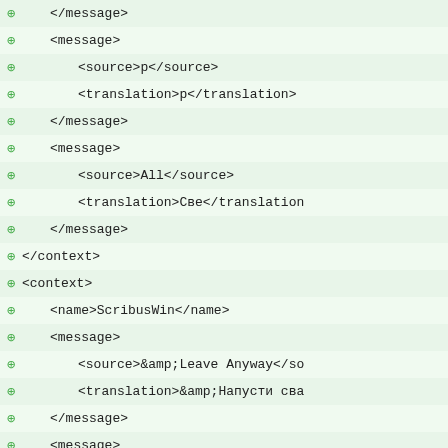</message>
<message>
<source>p</source>
<translation>p</translation>
</message>
<message>
<source>All</source>
<translation>Све</translation>
</message>
</context>
<context>
<name>ScribusWin</name>
<message>
<source>&amp;Leave Anyway</so
<translation>&amp;Напусти сва
</message>
<message>
<source>C&amp;lose Anyway</so
<translation>За&amp;твори сва
</message>
<message>
<source>Warning</source>
<translation>Упозорење</trans
</message>